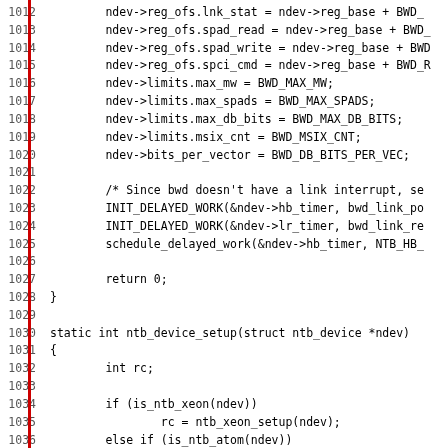[Figure (screenshot): Source code listing in C showing lines 1012-1043 of a Linux kernel NTB (Non-Transparent Bridge) driver. Lines include device register offset assignments, limits initialization, INIT_DELAYED_WORK calls, return statements, and the beginning of ntb_device_setup function with is_ntb_xeon and is_ntb_atom conditionals.]